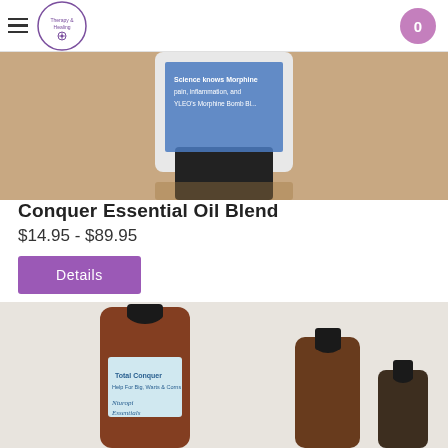Navigation header with hamburger menu, logo, and cart button (0)
[Figure (photo): Close-up of a white bottle with blue label text partially visible: 'Morphine Bomb Blend' and related text, set on a wooden surface]
Conquer Essential Oil Blend
$14.95 - $89.95
Details
[Figure (photo): Three amber essential oil bottles of different sizes with 'Total Conquer' labels on a white background]